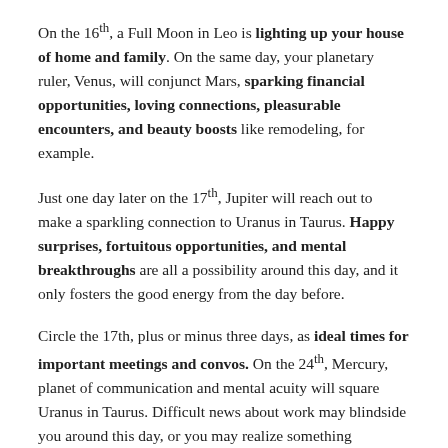On the 16th, a Full Moon in Leo is lighting up your house of home and family. On the same day, your planetary ruler, Venus, will conjunct Mars, sparking financial opportunities, loving connections, pleasurable encounters, and beauty boosts like remodeling, for example.
Just one day later on the 17th, Jupiter will reach out to make a sparkling connection to Uranus in Taurus. Happy surprises, fortuitous opportunities, and mental breakthroughs are all a possibility around this day, and it only fosters the good energy from the day before.
Circle the 17th, plus or minus three days, as ideal times for important meetings and convos. On the 24th, Mercury, planet of communication and mental acuity will square Uranus in Taurus. Difficult news about work may blindside you around this day, or you may realize something challenging. It will pass